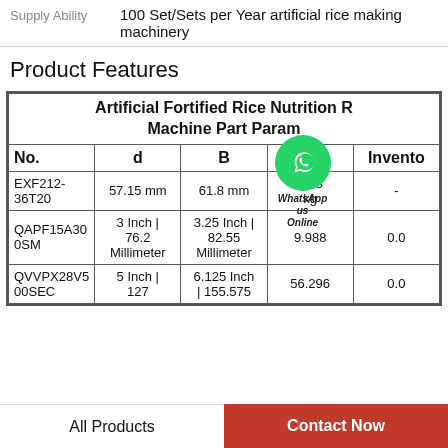Supply Ability   100 Set/Sets per Year artificial rice making machinery
Product Features
| No. | d | B | W | Inventory |
| --- | --- | --- | --- | --- |
|  | Artificial Fortified Rice Nutrition R... Machine Part Param... |  |  |  |
| EXF212-36T20 | 57.15 mm | 61.8 mm | 4.03 kg | - |
| QAPF15A300SM | 3 Inch | 76.2 Millimeter | 3.25 Inch | 82.55 Millimeter | 9.988 | 0.0 |
| QVVPX28V500SEC | 5 Inch | 127 | 6.125 Inch | 155.575 | 56.296 | 0.0 |
All Products
Contact Now